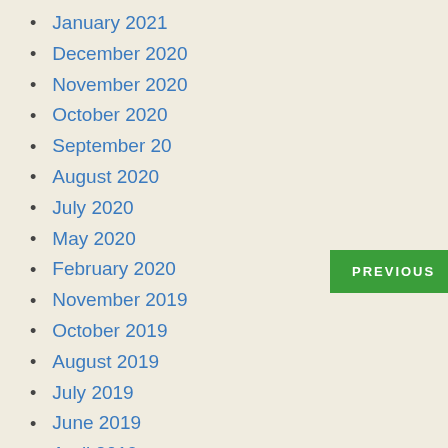January 2021
December 2020
November 2020
October 2020
September 2020
August 2020
July 2020
May 2020
February 2020
November 2019
October 2019
August 2019
July 2019
June 2019
April 2019
March 2019
February 2019